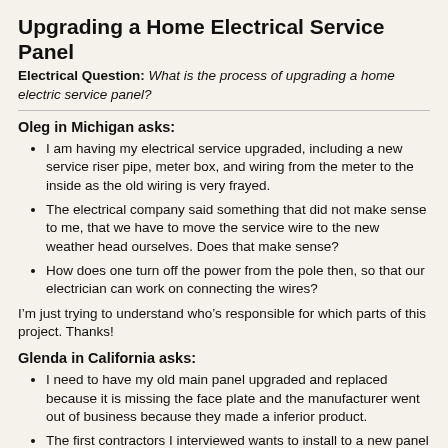Upgrading a Home Electrical Service Panel
Electrical Question: What is the process of upgrading a home electric service panel?
Oleg in Michigan asks:
I am having my electrical service upgraded, including a new service riser pipe, meter box, and wiring from the meter to the inside as the old wiring is very frayed.
The electrical company said something that did not make sense to me, that we have to move the service wire to the new weather head ourselves. Does that make sense?
How does one turn off the power from the pole then, so that our electrician can work on connecting the wires?
I’m just trying to understand who’s responsible for which parts of this project. Thanks!
Glenda in California asks:
I need to have my old main panel upgraded and replaced because it is missing the face plate and the manufacturer went out of business because they made a inferior product.
The first contractors I interviewed wants to install to a new panel by using the old panel to connect to the new main panel.
The second contractors wants to do what I believe should be done...